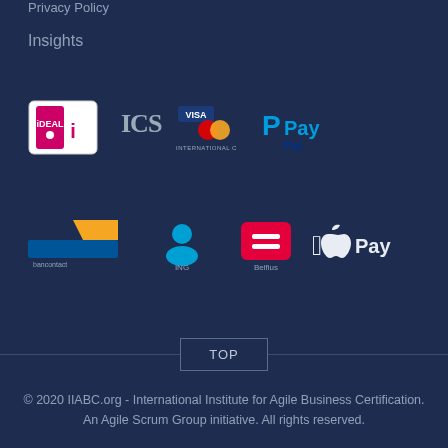Privacy Policy
Insights
[Figure (logo): Payment method logos row 1: iDEAL, ICS International Card Services (with Mastercard), PayPal]
[Figure (logo): Payment method logos row 2: Bancontact, ING, Belfius, Apple Pay]
TOP
© 2020 IIABC.org - International Institute for Agile Business Certification.
An Agile Scrum Group initiative. All rights reserved.